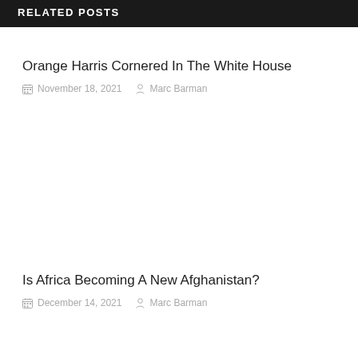RELATED POSTS
Orange Harris Cornered In The White House
November 18, 2021   Marc Barman
Is Africa Becoming A New Afghanistan?
December 14, 2021   Marc Barman